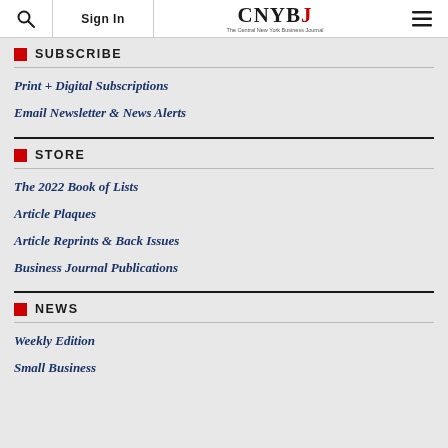Sign In | CNYBJ The Central New York Business Journal
SUBSCRIBE
Print + Digital Subscriptions
Email Newsletter & News Alerts
STORE
The 2022 Book of Lists
Article Plaques
Article Reprints & Back Issues
Business Journal Publications
NEWS
Weekly Edition
Small Business